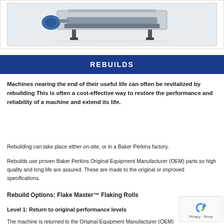[Figure (photo): Industrial flaking roll machine, gray and blue, with roller components visible, on white background]
REBUILDS
Machines nearing the end of their useful life can often be revitalized by rebuilding This is often a cost-effective way to restore the performance and reliability of a machine and extend its life.
Rebuilding can take place either on-site, or in a Baker Perkins factory.
Rebuilds use proven Baker Perkins Original Equipment Manufacturer (OEM) parts so high quality and long life are assured. These are made to the original or improved specifications.
Rebuild Options: Flake Master™ Flaking Rolls
Level 1: Return to original performance levels
The machine is returned to the Original Equipment Manufacturer (OEM)